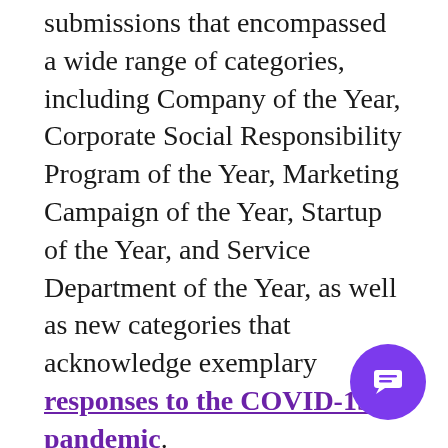submissions that encompassed a wide range of categories, including Company of the Year, Corporate Social Responsibility Program of the Year, Marketing Campaign of the Year, Startup of the Year, and Service Department of the Year, as well as new categories that acknowledge exemplary responses to the COVID-19 pandemic.
More than 260 of the world’s most respected executives, entrepreneurs, innovators, and business educators participated in the judging process from
[Figure (other): Purple circular chat bubble icon in bottom-right corner]